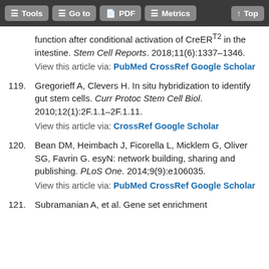Tools | Go to | PDF | Metrics | Top
function after conditional activation of CreER^T2 in the intestine. Stem Cell Reports. 2018;11(6):1337–1346. View this article via: PubMed CrossRef Google Scholar
119. Gregorieff A, Clevers H. In situ hybridization to identify gut stem cells. Curr Protoc Stem Cell Biol. 2010;12(1):2F.1.1–2F.1.11. View this article via: CrossRef Google Scholar
120. Bean DM, Heimbach J, Ficorella L, Micklem G, Oliver SG, Favrin G. esyN: network building, sharing and publishing. PLoS One. 2014;9(9):e106035. View this article via: PubMed CrossRef Google Scholar
121. Subramanian A, et al. Gene set enrichment...